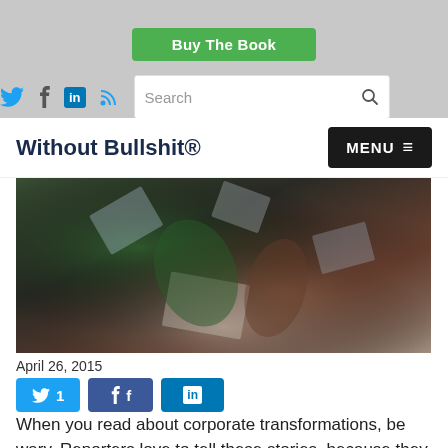Buy The Book
[Figure (screenshot): Social media icons (Twitter, Facebook, LinkedIn, RSS) and a search box in a gray navigation bar]
Without Bullshit®
[Figure (photo): Action photo of people amid flying papers/debris, dark chaotic background]
April 26, 2015
[Figure (screenshot): Social share buttons: Twitter with count 1, Facebook, LinkedIn]
When you read about corporate transformations, be wary. Reporters love to tell these stories, because they humanize companies. We love to read them. But